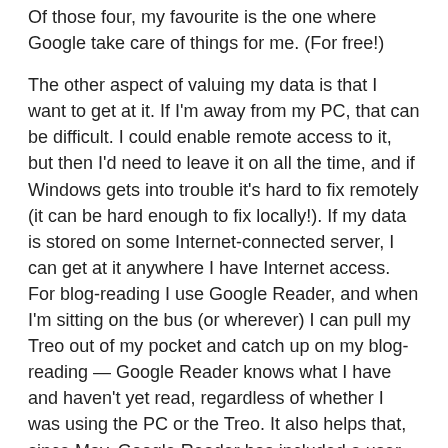Of those four, my favourite is the one where Google take care of things for me. (For free!)
The other aspect of valuing my data is that I want to get at it. If I'm away from my PC, that can be difficult. I could enable remote access to it, but then I'd need to leave it on all the time, and if Windows gets into trouble it's hard to fix remotely (it can be hard enough to fix locally!). If my data is stored on some Internet-connected server, I can get at it anywhere I have Internet access. For blog-reading I use Google Reader, and when I'm sitting on the bus (or wherever) I can pull my Treo out of my pocket and catch up on my blog-reading — Google Reader knows what I have and haven't yet read, regardless of whether I was using the PC or the Treo. It also helps that, since May, Google Reader has included a user interface specifically for mobile devices with small screens.
So: the data is stored in one place, but accessible from multiple places, with access tailored to the situation (screen size, keyboard availability, bandwidth, whatever). And the “one place” it’s stored is one where professionals will keep it safe.